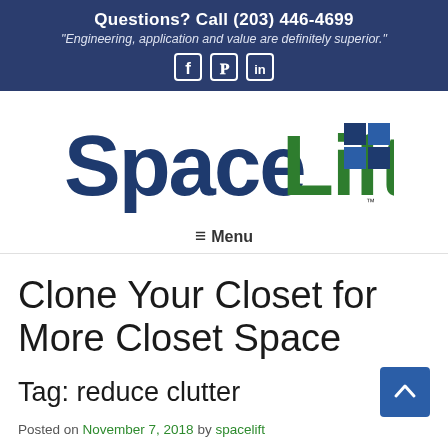Questions? Call (203) 446-4699
"Engineering, application and value are definitely superior."
[Figure (logo): SpaceLift logo with blue 'Space' text, green 'Lift' text, and blue checkerboard squares pattern]
≡ Menu
Clone Your Closet for More Closet Space
Tag: reduce clutter
Posted on November 7, 2018 by spacelift